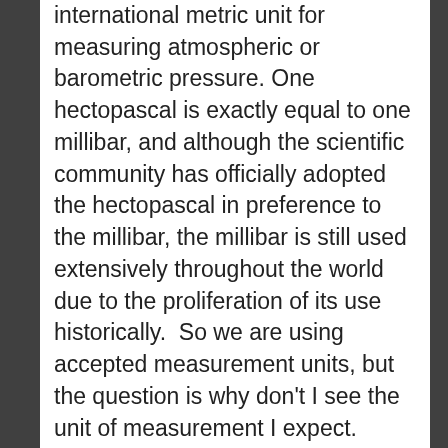international metric unit for measuring atmospheric or barometric pressure. One hectopascal is exactly equal to one millibar, and although the scientific community has officially adopted the hectopascal in preference to the millibar, the millibar is still used extensively throughout the world due to the proliferation of its use historically.  So we are using accepted measurement units, but the question is why don't I see the unit of measurement I expect.
First let me describe the code that is responsible for displaying the units.  The native Windows GPS units are metric, so if we are going to display GPS elevation in metric then we don't need to do anything, but if we want to display elevation in feet, however, then we need to convert the native GPS meters to feet; for that